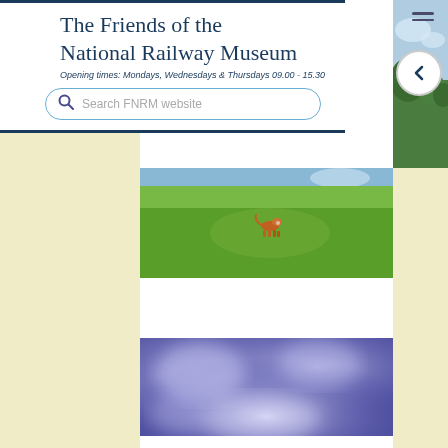The Friends of the National Railway Museum
Opening times: Mondays, Wednesdays & Thursdays 09.00 - 15.30
[Figure (screenshot): Search box with placeholder text 'Search FNRM website' and a search icon]
[Figure (photo): Photograph of a green grassy field with a single dog standing in the middle distance, sunny day]
[Figure (photo): Blurred purple and blue photograph, likely an out-of-focus interior or exterior scene]